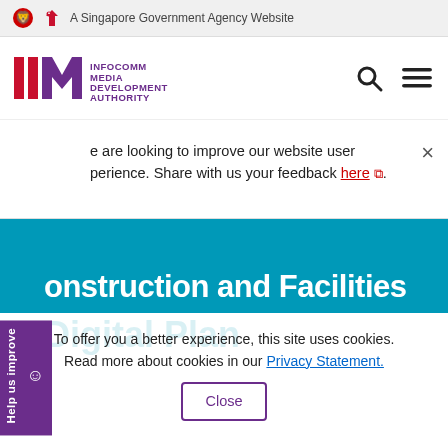A Singapore Government Agency Website
[Figure (logo): IMDA - Infocomm Media Development Authority logo with red and purple letters]
We are looking to improve our website user experience. Share with us your feedback here.
Construction and Facilities
To offer you a better experience, this site uses cookies. Read more about cookies in our Privacy Statement.
Close